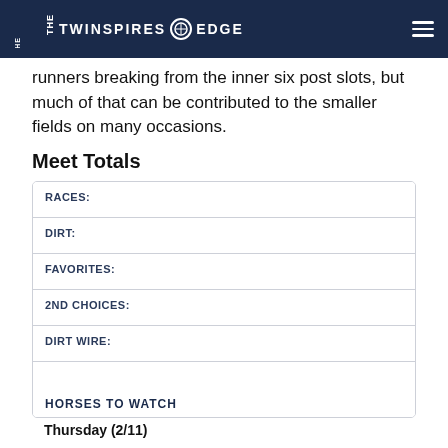THE TWINSPIRES EDGE
runners breaking from the inner six post slots, but much of that can be contributed to the smaller fields on many occasions.
Meet Totals
| RACES: |
| DIRT: |
| FAVORITES: |
| 2ND CHOICES: |
| DIRT WIRE: |
| HORSES TO WATCH | Thursday (2/11) |
Thursday (2/11)